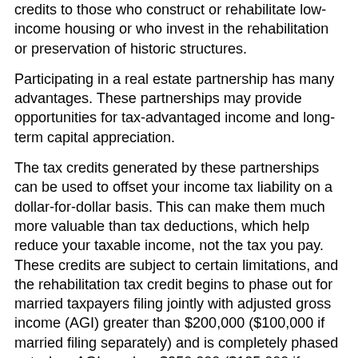credits to those who construct or rehabilitate low-income housing or who invest in the rehabilitation or preservation of historic structures.
Participating in a real estate partnership has many advantages. These partnerships may provide opportunities for tax-advantaged income and long-term capital appreciation.
The tax credits generated by these partnerships can be used to offset your income tax liability on a dollar-for-dollar basis. This can make them much more valuable than tax deductions, which help reduce your taxable income, not the tax you pay. These credits are subject to certain limitations, and the rehabilitation tax credit begins to phase out for married taxpayers filing jointly with adjusted gross income (AGI) greater than $200,000 ($100,000 if married filing separately) and is completely phased out when AGI reaches $250,000 ($125,000 if married filing separately).
Oil and Gas Partnerships
Energy partnerships can provide shelter through tax deductions taken at the partnership level. These include deductions for intangible drilling